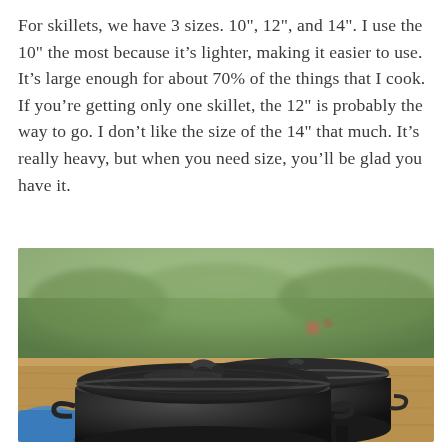For skillets, we have 3 sizes. 10", 12", and 14". I use the 10" the most because it's lighter, making it easier to use. It's large enough for about 70% of the things that I cook. If you're getting only one skillet, the 12" is probably the way to go. I don't like the size of the 14" that much. It's really heavy, but when you need size, you'll be glad you have it.
[Figure (photo): Two black cast iron Dutch ovens with lids and handles sitting on a wooden surface outdoors, with a blurred green background. The larger pot is in the foreground on the left, and a smaller pot is behind it on the right. A blue item is visible on the lower left.]